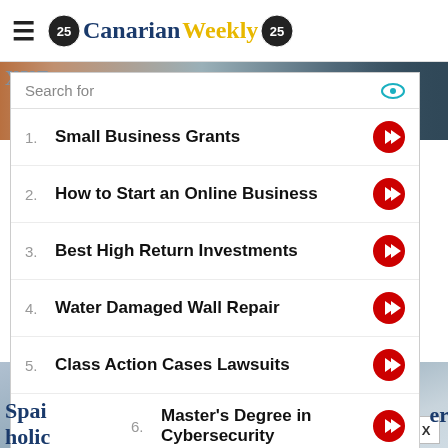[Figure (logo): Canarian Weekly logo with 25th anniversary badge, hamburger menu icon on left]
[Figure (photo): Classroom photo strip with children visible on right side]
Search for
1. Small Business Grants
2. How to Start an Online Business
3. Best High Return Investments
4. Water Damaged Wall Repair
5. Class Action Cases Lawsuits
6. Master's Degree in Cybersecurity
Ad | Business Focus
[Figure (photo): St Andrews advertisement banner at bottom of page with blue bird logos and X close button]